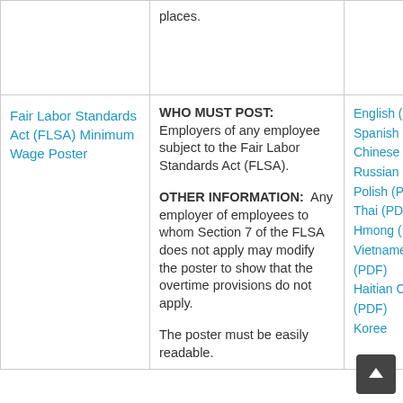| Poster | Requirements | Links |
| --- | --- | --- |
|  | places. |  |
| Fair Labor Standards Act (FLSA) Minimum Wage Poster | WHO MUST POST: Employers of any employee subject to the Fair Labor Standards Act (FLSA).

OTHER INFORMATION: Any employer of employees to whom Section 7 of the FLSA does not apply may modify the poster to show that the overtime provisions do not apply.

The poster must be easily readable. | English (PDF)
Spanish (PDF)
Chinese (PDF)
Russian (PDF)
Polish (PDF)
Thai (PDF)
Hmong (PDF)
Vietnamese (PDF)
Haitian Creole (PDF)
Korean |